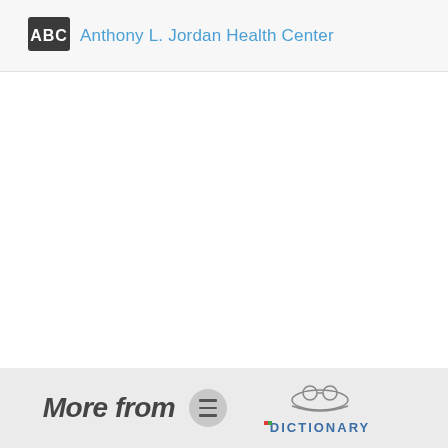ABC Anthony L. Jordan Health Center
[Figure (logo): Bottom bar with 'More from' text, hamburger menu icon, and The Free Dictionary logo with illustrated figure]